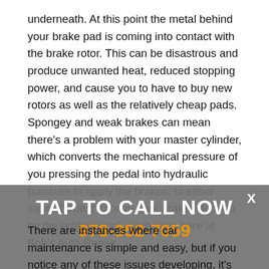underneath. At this point the metal behind your brake pad is coming into contact with the brake rotor. This can be disastrous and produce unwanted heat, reduced stopping power, and cause you to have to buy new rotors as well as the relatively cheap pads. Spongey and weak brakes can mean there's a problem with your master cylinder, which converts the mechanical pressure of you pressing the pedal into hydraulic pressure to apply the brakes. In either case, it's best to have your brakes seen to by the professional mechanics here at Bob's Auto Repair.
[Figure (infographic): Grey overlay banner with white 'TAP TO CALL NOW' text and orange phone number '978-352-7059', with an X close button in the top right corner.]
There are instances where car maintenance is simple and easy, but if you notice any of these issues developing, it's best to take your car in for a qualified mechanic's checkup